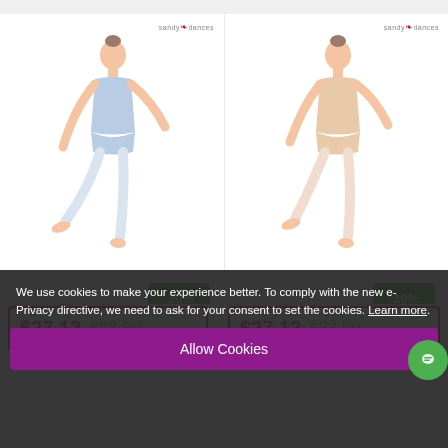[Figure (photo): Ballet dancer in light blue leotard and tights, posing on one leg, with Sandy Duncan's brand logo in corner and -20% discount badge]
$27.12  $33.90
[Figure (photo): Ballet dancer in nude/white leotard and tights, posing on one leg, with Sandy Duncan's brand logo in corner and -20% discount badge]
$27.12  $33.90
We use cookies to make your experience better. To comply with the new e-Privacy directive, we need to ask for your consent to set the cookies. Learn more.
Allow Cookies